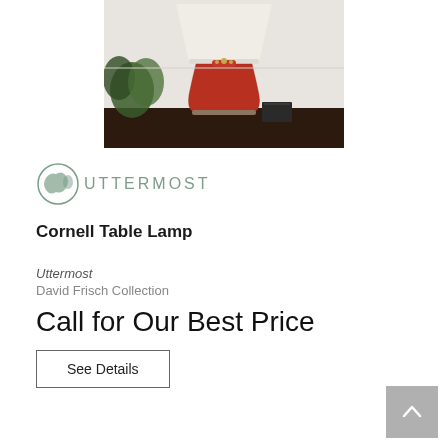[Figure (photo): Product photo of Cornell Table Lamp by Uttermost — red ceramic base table lamp with white drum shade, on a dark wood table with green plant and small book in background.]
[Figure (logo): Uttermost brand logo — globe icon in sage green next to text UTTERMOST in letter-spaced gray-green caps.]
Cornell Table Lamp
Uttermost
David Frisch Collection
Call for Our Best Price
See Details